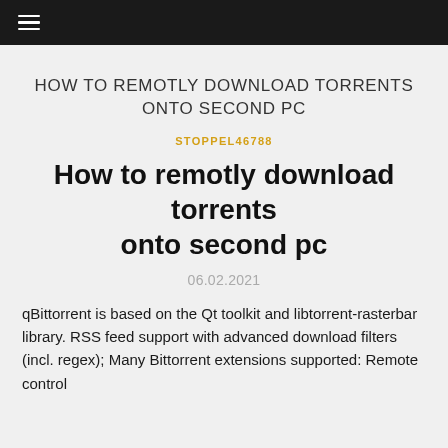≡
HOW TO REMOTLY DOWNLOAD TORRENTS ONTO SECOND PC
STOPPEL46788
How to remotly download torrents onto second pc
06.02.2021
qBittorrent is based on the Qt toolkit and libtorrent-rasterbar library. RSS feed support with advanced download filters (incl. regex); Many Bittorrent extensions supported: Remote control